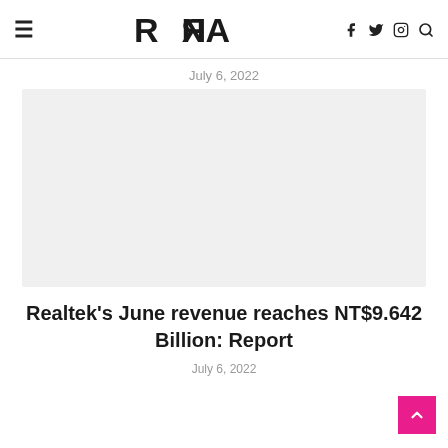RPRNA
July 6, 2022
[Figure (photo): Large light gray image placeholder rectangle]
Realtek's June revenue reaches NT$9.642 Billion: Report
July 6, 2022